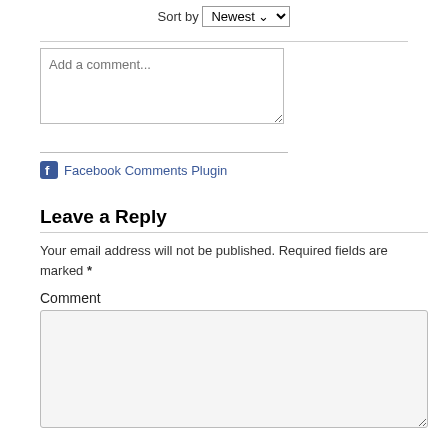Sort by Newest
[Figure (screenshot): Text input box with placeholder 'Add a comment...']
Facebook Comments Plugin
Leave a Reply
Your email address will not be published. Required fields are marked *
Comment
[Figure (screenshot): Large empty comment text area input box]